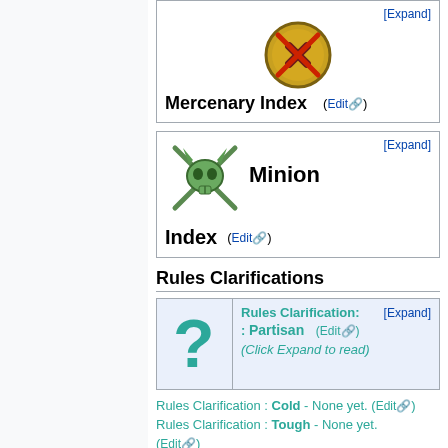[Figure (illustration): Mercenary Index icon - golden shield with crossed pistols and red X]
Mercenary Index
(Edit)
[Figure (illustration): Minion Index icon - green creature skull with crossed swords]
Minion Index
(Edit)
Rules Clarifications
[Figure (illustration): Green question mark icon for Rules Clarification]
Rules Clarification: : Partisan (Edit) (Click Expand to read)
Rules Clarification : Cold - None yet. (Edit)
Rules Clarification : Tough - None yet. (Edit)